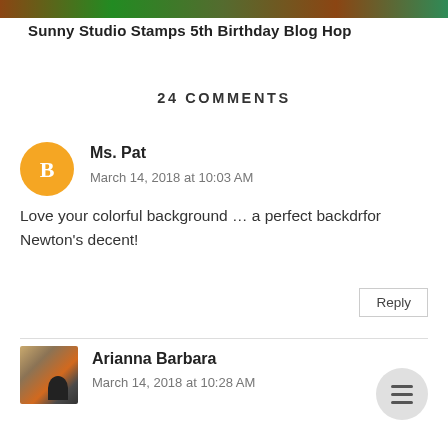[Figure (photo): Colorful nature photo strip at top of page]
Sunny Studio Stamps 5th Birthday Blog Hop
24 COMMENTS
Ms. Pat
March 14, 2018 at 10:03 AM
Love your colorful background … a perfect backdrfor Newton's decent!
Reply
Arianna Barbara
March 14, 2018 at 10:28 AM